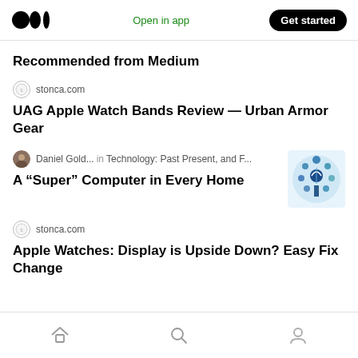Medium — Open in app | Get started
Recommended from Medium
stonca.com
UAG Apple Watch Bands Review — Urban Armor Gear
Daniel Gold...  in Technology: Past Present, and F...
A “Super” Computer in Every Home
stonca.com
Apple Watches: Display is Upside Down? Easy Fix Change